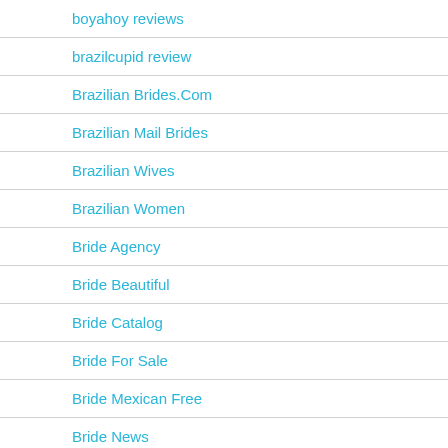boyahoy reviews
brazilcupid review
Brazilian Brides.Com
Brazilian Mail Brides
Brazilian Wives
Brazilian Women
Bride Agency
Bride Beautiful
Bride Catalog
Bride For Sale
Bride Mexican Free
Bride News
Bride Order Catalog